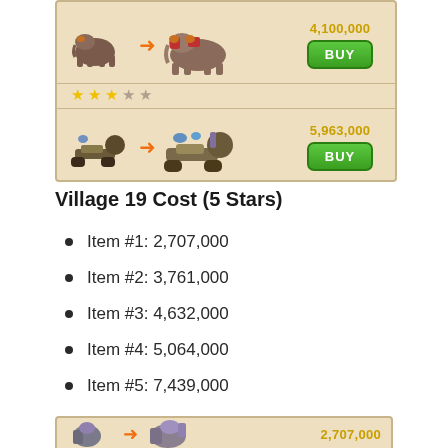[Figure (screenshot): Game upgrade screen showing two items: a mammoth upgrade costing 4,100,000 with 3 stars filled and 2 empty, and a cannon upgrade costing 5,963,000 with 3 stars filled and 2 empty, each with a BUY button.]
Village 19 Cost (5 Stars)
Item #1: 2,707,000
Item #2: 3,761,000
Item #3: 4,632,000
Item #4: 5,064,000
Item #5: 7,439,000
[Figure (screenshot): Bottom partial game upgrade screen showing an item upgrade with cost 2,707,000.]